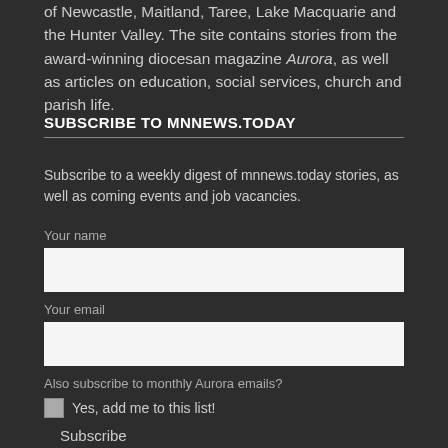of Newcastle, Maitland, Taree, Lake Macquarie and the Hunter Valley. The site contains stories from the award-winning diocesan magazine Aurora, as well as articles on education, social services, church and parish life.
SUBSCRIBE TO MNNEWS.TODAY
Subscribe to a weekly digest of mnnews.today stories, as well as coming events and job vacancies.
Your name
Your email
Also subscribe to monthly Aurora emails?
Yes, add me to this list!
Subscribe